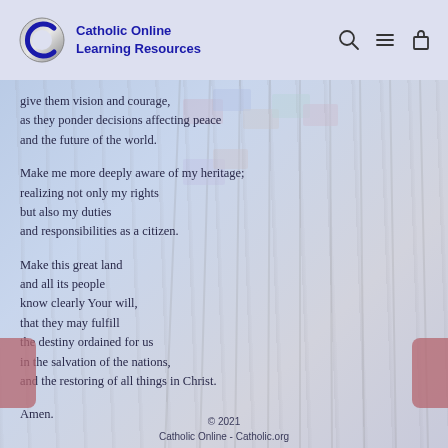[Figure (logo): Catholic Online Learning Resources logo with stylized C and blue text]
give them vision and courage,
as they ponder decisions affecting peace
and the future of the world.

Make me more deeply aware of my heritage;
realizing not only my rights
but also my duties
and responsibilities as a citizen.

Make this great land
and all its people
know clearly Your will,
that they may fulfill
the destiny ordained for us
in the salvation of the nations,
and the restoring of all things in Christ.

Amen.
© 2021
Catholic Online - Catholic.org